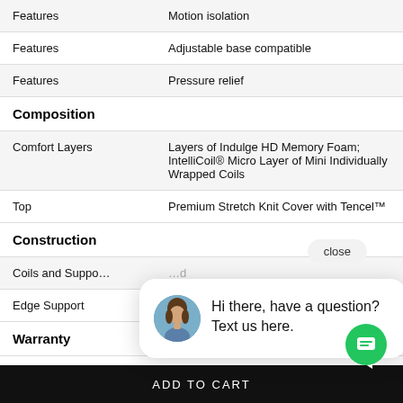| Category | Value |
| --- | --- |
| Features | Motion isolation |
| Features | Adjustable base compatible |
| Features | Pressure relief |
| Composition |  |
| Comfort Layers | Layers of Indulge HD Memory Foam; IntelliCoil® Micro Layer of Mini Individually Wrapped Coils |
| Top | Premium Stretch Knit Cover with Tencel™ |
| Construction |  |
| Coils and Support | [partially obscured] |
| Edge Support | [partially obscured] |
| Warranty |  |
[Figure (screenshot): Chat widget popup with avatar of a woman and text: 'Hi there, have a question? Text us here.' with a close button and green chat FAB button.]
ADD TO CART